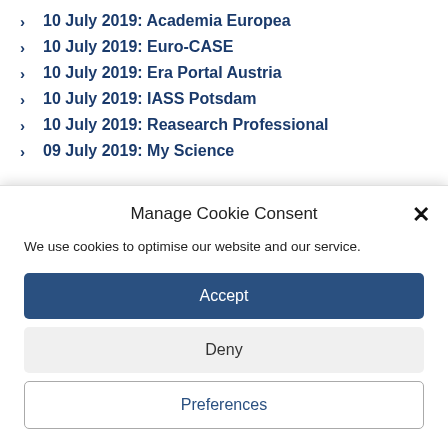10 July 2019: Academia Europea
10 July 2019: Euro-CASE
10 July 2019: Era Portal Austria
10 July 2019: IASS Potsdam
10 July 2019: Reasearch Professional
09 July 2019: My Science
Manage Cookie Consent
We use cookies to optimise our website and our service.
Accept
Deny
Preferences